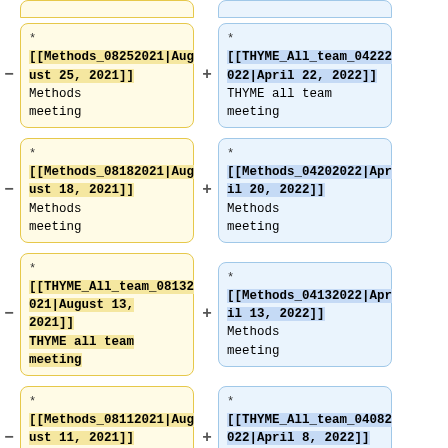- * [[Methods_08252021|August 25, 2021]] Methods meeting
+ * [[THYME_All_team_04222022|April 22, 2022]] THYME all team meeting
- * [[Methods_08182021|August 18, 2021]] Methods meeting
+ * [[Methods_04202022|April 20, 2022]] Methods meeting
- * [[THYME_All_team_08132021|August 13, 2021]] THYME all team meeting
+ * [[Methods_04132022|April 13, 2022]] Methods meeting
- * [[Methods_08112021|August 11, 2021]] Methods meeting
+ * [[THYME_All_team_04082022|April 8, 2022]] THYME all team meeting
- * [[Methods_08042021|Aug...
+ * [[Methods_04062022|Apr...